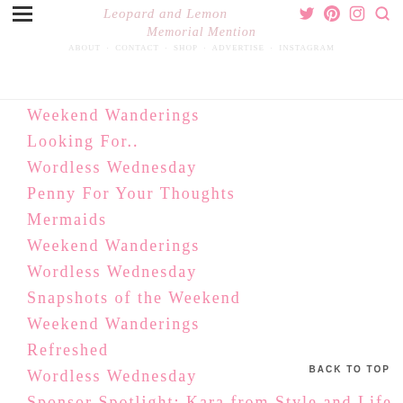Leopard and Lemon | Memorial Mention
Weekend Wanderings
Looking For..
Wordless Wednesday
Penny For Your Thoughts
Mermaids
Weekend Wanderings
Wordless Wednesday
Snapshots of the Weekend
Weekend Wanderings
Refreshed
Wordless Wednesday
Sponsor Spotlight: Kara from Style and Life
The Everygirl
BACK TO TOP